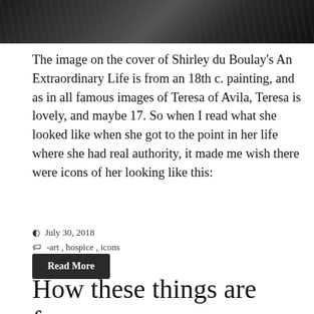[Figure (photo): Black and white photo strip showing trees/foliage, cropped at top]
The image on the cover of Shirley du Boulay's An Extraordinary Life is from an 18th c. painting, and as in all famous images of Teresa of Avila, Teresa is lovely, and maybe 17. So when I read what she looked like when she got to the point in her life where she had real authority, it made me wish there were icons of her looking like this:
July 30, 2018
-art, hospice, icons
Read More
How these things are forgotten